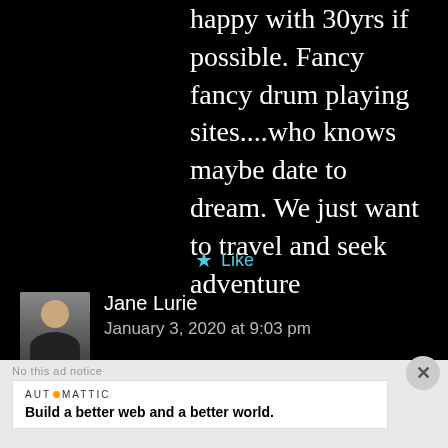happy with 30yrs if possible. Fancy fancy drum playing sites....who knows maybe date to dream. We just want to travel and seek adventure
Like
Jane Lurie
January 3, 2020 at 9:03 pm
AUT⊙MATTIC
Build a better web and a better world.